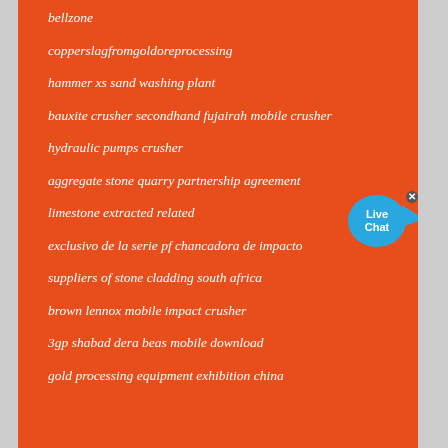bellzone
copperslagfromgoldoreprocessing
hammer xs sand washing plant
bauxite crusher secondhand fujairah mobile crusher
hydraulic pumps crusher
aggregate stone quarry partnership agreement
limestone extracted related
exclusivo de la serie pf chancadora de impacto
suppliers of stone cladding south africa
brown lennox mobile impact crusher
3gp shabad dera beas mobile download
gold processing equipment exhibition china